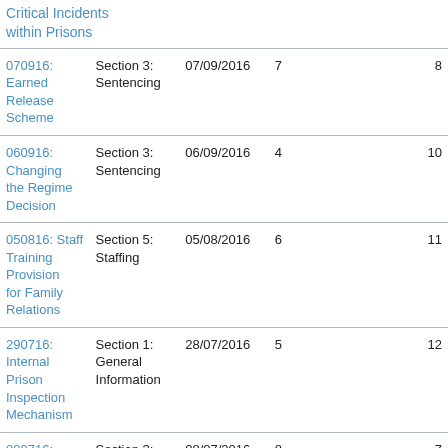|  |  |  |  |  |
| --- | --- | --- | --- | --- |
| Critical Incidents within Prisons |  |  |  |  |
| 070916: Earned Release Scheme | Section 3: Sentencing | 07/09/2016 | 7 | 8 |
| 060916: Changing the Regime Decision | Section 3: Sentencing | 06/09/2016 | 4 | 10 |
| 050816: Staff Training Provision for Family Relations | Section 5: Staffing | 05/08/2016 | 6 | 11 |
| 290716: Internal Prison Inspection Mechanism | Section 1: General Information | 28/07/2016 | 5 | 12 |
| 080716: Assessment of Protection Prisoners | Section 3: Sentencing | 08/07/2016 | 8 | 7 |
| 180716: Number | Section 5: | 01/07/2016 | 3 | 10 |